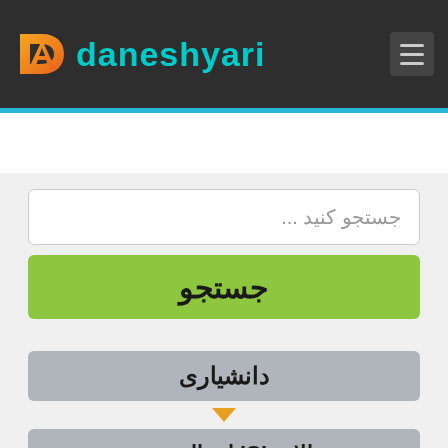[Figure (logo): Daneshyari website header with orange logo mark, teal brand name 'daneshyari', and hamburger menu icon on dark background]
جستجو کنید ...
جستجو
دانشیاری
مقالات ISI انتقال عمودی